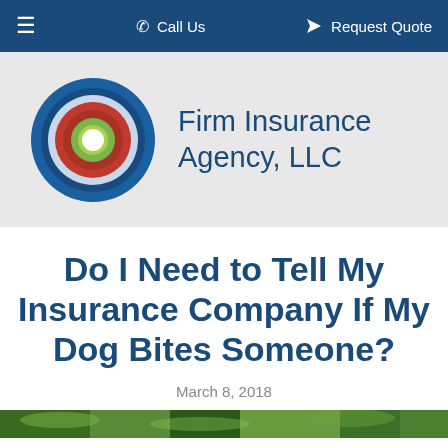≡   ✆ Call Us   ➤ Request Quote
[Figure (logo): Firm Insurance Agency LLC logo with concentric circles in blue, red, and green, followed by company name text]
Do I Need to Tell My Insurance Company If My Dog Bites Someone?
March 8, 2018
[Figure (photo): Partial photo at bottom of page showing outdoor/nature scene]